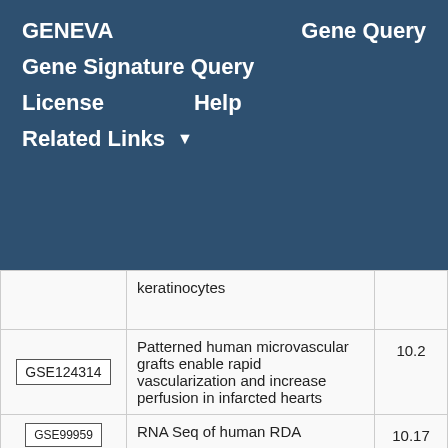GENEVA | Gene Query
Gene Signature Query
License | Help
Related Links ▾
|  | Description | Score |
| --- | --- | --- |
|  | keratinocytes |  |
| GSE124314 | Patterned human microvascular grafts enable rapid vascularization and increase perfusion in infarcted hearts | 10.2 |
| GSE99959 (partial) | RNA Seq of human RDA... | 10.17 |